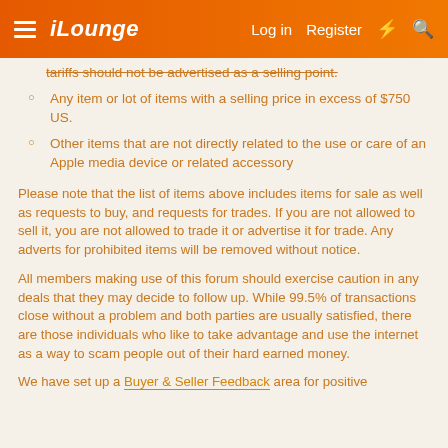iLounge | Log in | Register
tariffs should not be advertised as a selling point.
Any item or lot of items with a selling price in excess of $750 US.
Other items that are not directly related to the use or care of an Apple media device or related accessory
Please note that the list of items above includes items for sale as well as requests to buy, and requests for trades. If you are not allowed to sell it, you are not allowed to trade it or advertise it for trade. Any adverts for prohibited items will be removed without notice.
All members making use of this forum should exercise caution in any deals that they may decide to follow up. While 99.5% of transactions close without a problem and both parties are usually satisfied, there are those individuals who like to take advantage and use the internet as a way to scam people out of their hard earned money.
We have set up a Buyer & Seller Feedback area for positive